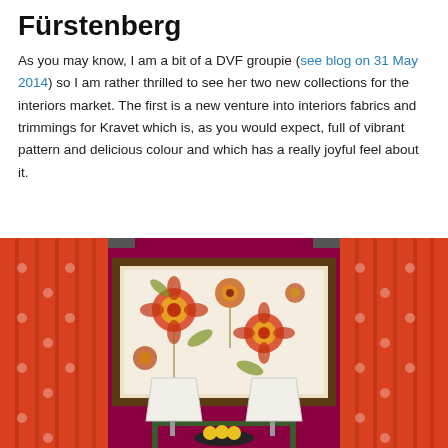Fürstenberg
As you may know, I am a bit of a DVF groupie (see blog on 31 May 2014) so I am rather thrilled to see her two new collections for the interiors market. The first is a new venture into interiors fabrics and trimmings for Kravet which is, as you would expect, full of vibrant pattern and delicious colour and which has a really joyful feel about it.
[Figure (photo): Interior design photo showing a room with bold crimson/magenta walls, orange and red patterned curtains on both sides, a framed floral fabric panel in the center against the wall, two white lamp shades on a console table, and a bowl of fruit.]